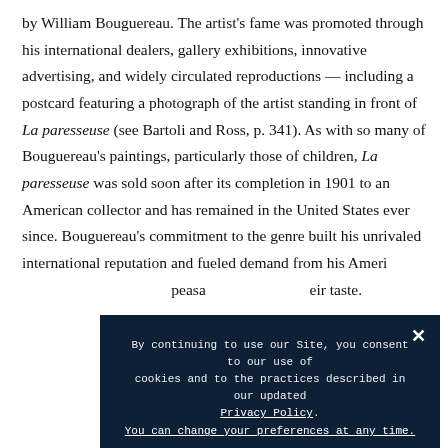by William Bouguereau. The artist's fame was promoted through his international dealers, gallery exhibitions, innovative advertising, and widely circulated reproductions — including a postcard featuring a photograph of the artist standing in front of La paresseuse (see Bartoli and Ross, p. 341). As with so many of Bouguereau's paintings, particularly those of children, La paresseuse was sold soon after its completion in 1901 to an American collector and has remained in the United States ever since. Bouguereau's commitment to the genre built his unrivaled international reputation and fueled demand from his Ameri... peasa... ...eir taste.
By continuing to use our Site, you consent to our use of cookies and to the practices described in our updated Privacy Policy. You can change your preferences at any time.